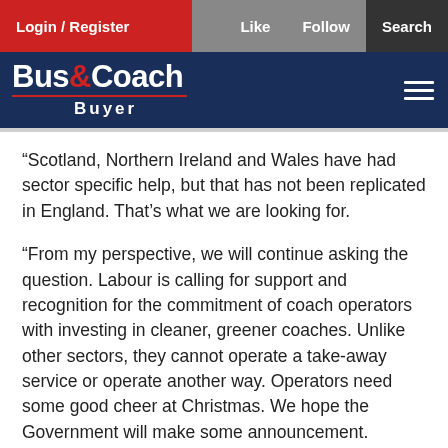Login / Register | Like | Follow | Search
[Figure (logo): Bus&Coach Buyer logo on dark navy background with hamburger menu icon]
“Scotland, Northern Ireland and Wales have had sector specific help, but that has not been replicated in England. That’s what we are looking for.
“From my perspective, we will continue asking the question. Labour is calling for support and recognition for the commitment of coach operators with investing in cleaner, greener coaches. Unlike other sectors, they cannot operate a take-away service or operate another way. Operators need some good cheer at Christmas. We hope the Government will make some announcement.
“We will simply keep asking the question and putting